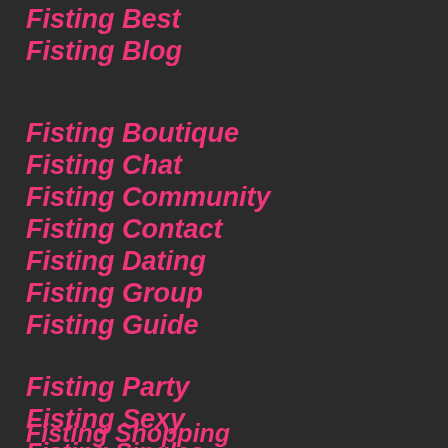Fisting Best
Fisting Blog
Fisting Boutique
Fisting Chat
Fisting Community
Fisting Contact
Fisting Dating
Fisting Group
Fisting Guide
Fisting Party
Fisting Sexy
Fisting Shopping
Fisting Singles